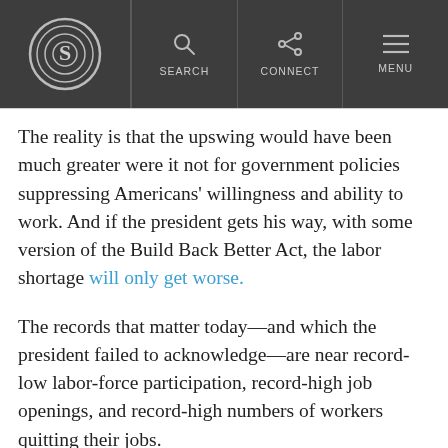S | SEARCH | CONNECT | MENU
The reality is that the upswing would have been much greater were it not for government policies suppressing Americans' willingness and ability to work. And if the president gets his way, with some version of the Build Back Better Act, the labor shortage will only get worse.
The records that matter today—and which the president failed to acknowledge—are near record-low labor-force participation, record-high job openings, and record-high numbers of workers quitting their jobs.
With 10.9 million job openings, there are 1.7 jobs available for every unemployed worker, and a record